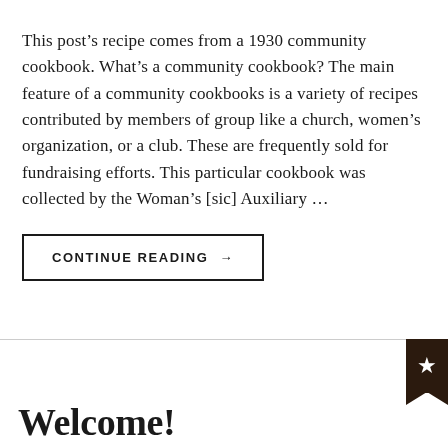This post's recipe comes from a 1930 community cookbook. What's a community cookbook? The main feature of a community cookbooks is a variety of recipes contributed by members of group like a church, women's organization, or a club. These are frequently sold for fundraising efforts. This particular cookbook was collected by the Woman's [sic] Auxiliary …
CONTINUE READING →
Welcome!